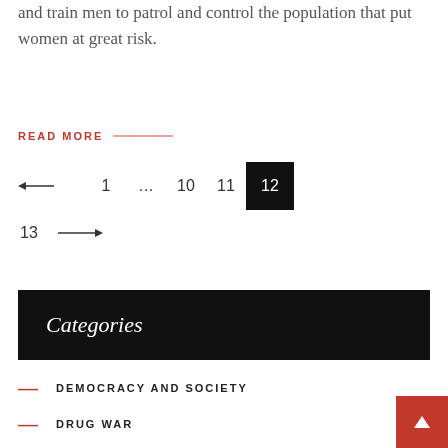and train men to patrol and control the population that put women at great risk.
READ MORE —
← 1 … 10 11 12 13 →
Categories
DEMOCRACY AND SOCIETY
DRUG WAR
FEATURED CONTENT